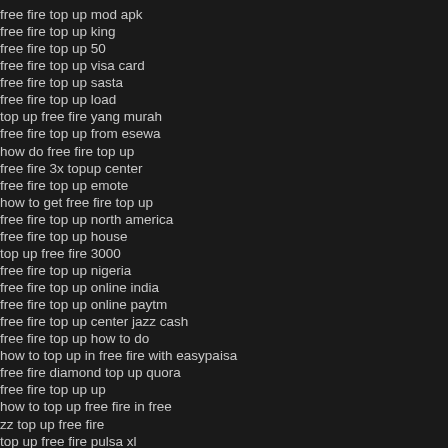free fire top up mod apk
free fire top up king
free fire top up 50
free fire top up visa card
free fire top up sasta
free fire top up load
top up free fire yang murah
free fire top up from esewa
how do free fire top up
free fire 3x topup center
free fire top up emote
how to get free fire top up
free fire top up north america
free fire top up house
top up free fire 3000
free fire top up nigeria
free fire top up online india
free fire top up online paytm
free fire top up center jazz cash
free fire top up how to do
how to top up in free fire with easypaisa
free fire diamond top up quora
free fire top up up
how to top up free fire in free
zz top up free fire
top up free fire pulsa xl
top up free fire diskon 99
free fire top up 2022
free fire diamond top up jazz cash
free fire top up voucher
free fire top up 200 rupees
free fire top up jazz cash